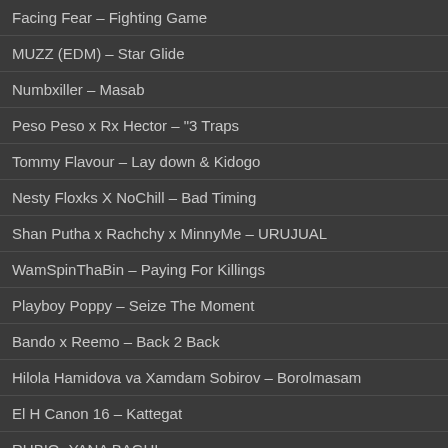Facing Fear – Fighting Game
MUZZ (EDM) – Star Glide
Numbxiller – Masab
Peso Peso x Rx Hector – "3 Traps
Tommy Flavour – Lay down & Kidogo
Nesty Floxks X NoChill – Bad Timing
Shan Putha x Rachchy x MinnyMe – URUJUAL
WamSpinThaBin – Paying For Killings
Playboy Poppy – Seize The Moment
Bando x Reemo – Back 2 Back
Hilola Hamidova va Xamdam Sobirov – Borolmasam
El H Canon 16 – Kattegat
RUBIO -YANA BAGHI
Jitano – Nemesis
FBG Cash – Computer Murderers